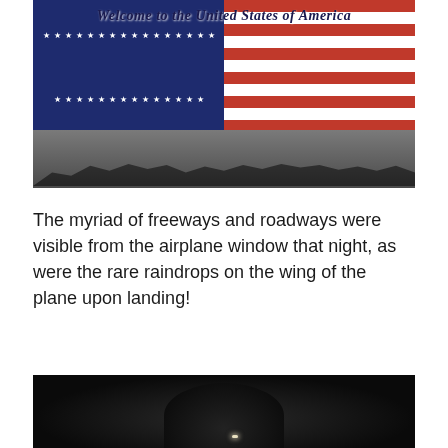[Figure (photo): A photo of a 'Welcome to the United States of America' sign mounted on a wall, featuring an American flag with stars and stripes, and silhouettes of people along the bottom.]
The myriad of freeways and roadways were visible from the airplane window that night, as were the rare raindrops on the wing of the plane upon landing!
[Figure (photo): A dark nighttime photo showing a mostly black scene with a silhouette of a person's head and a small light visible.]